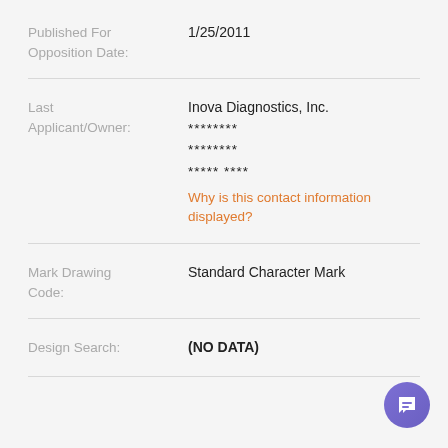Published For Opposition Date: 1/25/2011
Last Applicant/Owner: Inova Diagnostics, Inc. ******** ******** ***** **** Why is this contact information displayed?
Mark Drawing Code: Standard Character Mark
Design Search: (NO DATA)